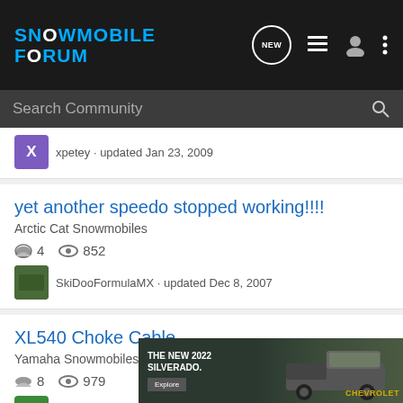Snowmobile Forum
Search Community
xpetey · updated Jan 23, 2009
yet another speedo stopped working!!!!
Arctic Cat Snowmobiles
4  852
SkiDooFormulaMX · updated Dec 8, 2007
XL540 Choke Cable
Yamaha Snowmobiles
8  979
THE NEW 2022 SILVERADO.
[Figure (photo): Chevrolet 2022 Silverado truck advertisement banner]